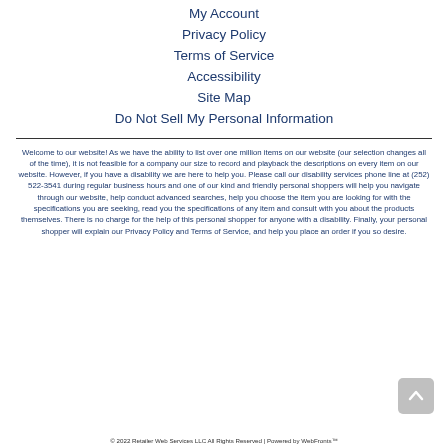My Account
Privacy Policy
Terms of Service
Accessibility
Site Map
Do Not Sell My Personal Information
Welcome to our website! As we have the ability to list over one million items on our website (our selection changes all of the time), it is not feasible for a company our size to record and playback the descriptions on every item on our website. However, if you have a disability we are here to help you. Please call our disability services phone line at (252) 522-3541 during regular business hours and one of our kind and friendly personal shoppers will help you navigate through our website, help conduct advanced searches, help you choose the item you are looking for with the specifications you are seeking, read you the specifications of any item and consult with you about the products themselves. There is no charge for the help of this personal shopper for anyone with a disability. Finally, your personal shopper will explain our Privacy Policy and Terms of Service, and help you place an order if you so desire.
© 2022 Retailer Web Services LLC All Rights Reserved | Powered by WebFronts™